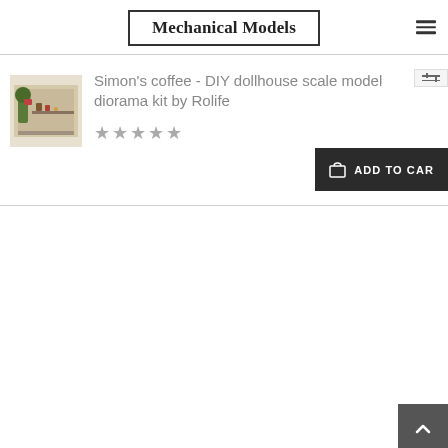Mechanical Models
Simon's coffee - DIY dollhouse scale model diorama kit by Rolife
★★★★★
[Figure (photo): Small product photo of Simon's coffee DIY dollhouse diorama kit showing a miniature coffee shop scene]
[Figure (other): Add to Cart button - dark background with shopping bag icon and text ADD TO CART]